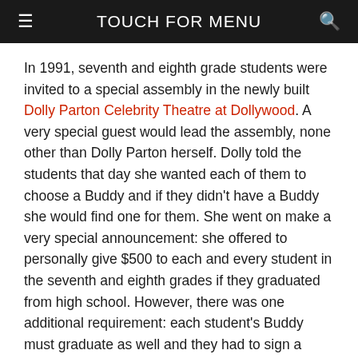TOUCH FOR MENU
In 1991, seventh and eighth grade students were invited to a special assembly in the newly built Dolly Parton Celebrity Theatre at Dollywood. A very special guest would lead the assembly, none other than Dolly Parton herself. Dolly told the students that day she wanted each of them to choose a Buddy and if they didn't have a Buddy she would find one for them. She went on make a very special announcement: she offered to personally give $500 to each and every student in the seventh and eighth grades if they graduated from high school. However, there was one additional requirement: each student's Buddy must graduate as well and they had to sign a contract to pledge to do everything they could to make sure both graduated.
The program was a great success and ultimately the dropout rate for those classes plummeted to 6%. More importantly, it served as a catalyst for the community to rally around a number of initiatives to keep children in school. These children are now the new generation of leaders in Sevier County and all proudly recall that special moment when they graduated from high school and Dolly